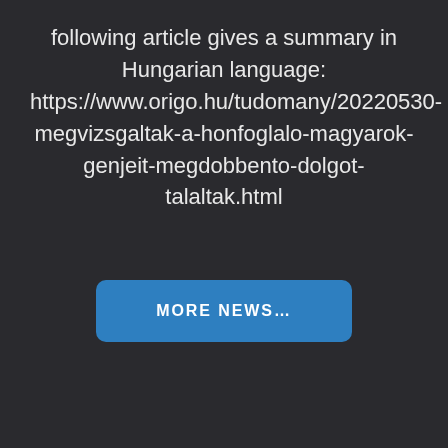following article gives a summary in Hungarian language: https://www.origo.hu/tudomany/20220530-megvizsgaltak-a-honfoglalo-magyarok-genjeit-megdobbento-dolgot-talaltak.html
MORE NEWS...